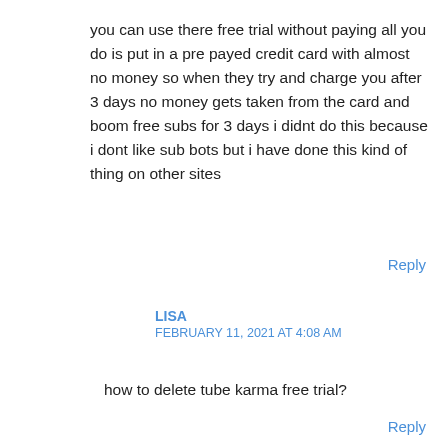you can use there free trial without paying all you do is put in a pre payed credit card with almost no money so when they try and charge you after 3 days no money gets taken from the card and boom free subs for 3 days i didnt do this because i dont like sub bots but i have done this kind of thing on other sites
Reply
LISA
FEBRUARY 11, 2021 AT 4:08 AM
how to delete tube karma free trial?
Reply